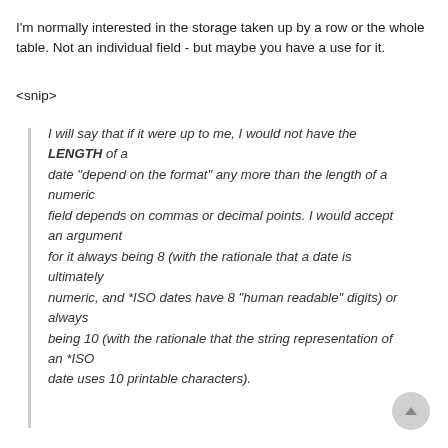I'm normally interested in the storage taken up by a row or the whole table. Not an individual field - but maybe you have a use for it.
<snip>
I will say that if it were up to me, I would not have the LENGTH of a date "depend on the format" any more than the length of a numeric field depends on commas or decimal points. I would accept an argument for it always being 8 (with the rationale that a date is ultimately numeric, and *ISO dates have 8 "human readable" digits) or always being 10 (with the rationale that the string representation of an *ISO date uses 10 printable characters).